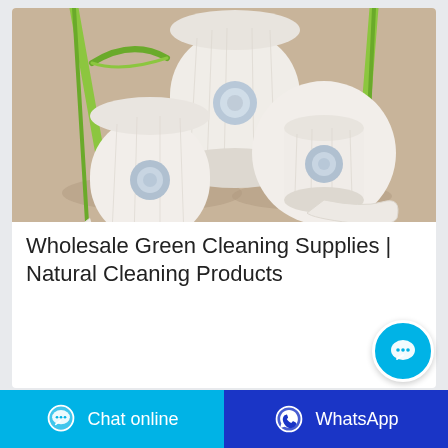[Figure (photo): Three rolls of white toilet paper arranged together with green bamboo stalks on a beige/tan background]
Wholesale Green Cleaning Supplies | Natural Cleaning Products
[Figure (other): Cyan circular chat button with ellipsis speech bubble icon]
[Figure (other): Bottom bar with two buttons: Chat online (cyan) and WhatsApp (dark blue)]